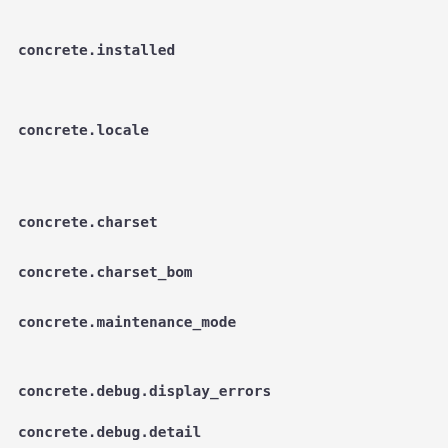concrete.installed
concrete.locale
concrete.charset
concrete.charset_bom
concrete.maintenance_mode
concrete.debug.display_errors
concrete.debug.detail